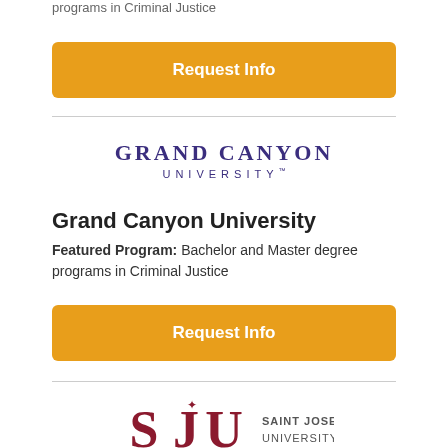programs in Criminal Justice
Request Info
[Figure (logo): Grand Canyon University logo with stylized text]
Grand Canyon University
Featured Program: Bachelor and Master degree programs in Criminal Justice
Request Info
[Figure (logo): Saint Joseph's University logo with SJU monogram]